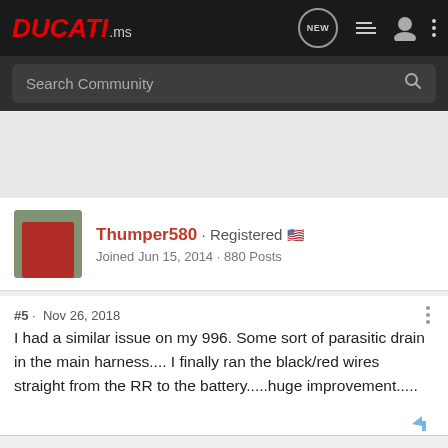DUCATI.ms
Search Community
Thumper580 · Registered
Joined Jun 15, 2014 · 880 Posts
#5 · Nov 26, 2018
I had a similar issue on my 996. Some sort of parasitic drain in the main harness.... I finally ran the black/red wires straight from the RR to the battery.....huge improvement.....